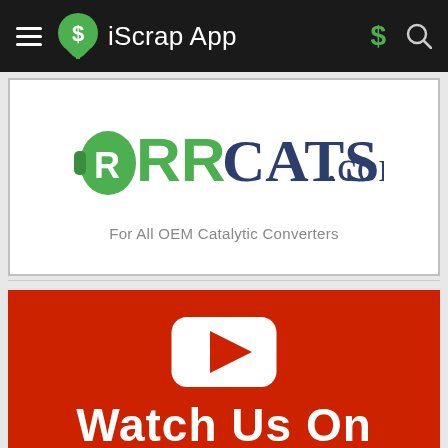iScrap App
[Figure (logo): RRCats.com logo with green catalyst icon and tagline 'For All OEM Catalytic Converters']
[Figure (illustration): YouTube play button icon on red background with text 'Watch Us On']